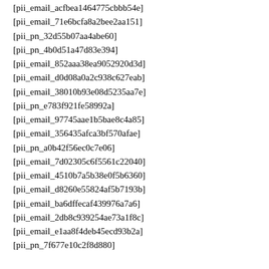[pii_email_acfbea1464775cbbb54e]
[pii_email_71e6bcfa8a2bee2aa151]
[pii_pn_32d55b07aa4abe60]
[pii_pn_4b0d51a47d83e394]
[pii_email_852aaa38ea9052920d3d]
[pii_email_d0d08a0a2c938c627eab]
[pii_email_38010b93e08d5235aa7e]
[pii_pn_e783f921fe58992a]
[pii_email_97745aae1b5bae8c4a85]
[pii_email_356435afca3bf570afae]
[pii_pn_a0b42f56ec0c7e06]
[pii_email_7d02305c6f5561c22040]
[pii_email_4510b7a5b38e0f5b6360]
[pii_email_d8260e55824af5b7193b]
[pii_email_ba6dffecaf439976a7a6]
[pii_email_2db8c939254ae73a1f8c]
[pii_email_e1aa8f4deb45ecd93b2a]
[pii_pn_7f677e10c2f8d880]